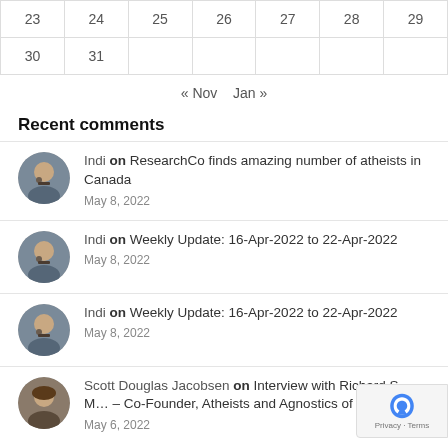| 23 | 24 | 25 | 26 | 27 | 28 | 29 |
| 30 | 31 |  |  |  |  |  |
« Nov   Jan »
Recent comments
Indi on ResearchCo finds amazing number of atheists in Canada
May 8, 2022
Indi on Weekly Update: 16-Apr-2022 to 22-Apr-2022
May 8, 2022
Indi on Weekly Update: 16-Apr-2022 to 22-Apr-2022
May 8, 2022
Scott Douglas Jacobsen on Interview with Richard S. [...] – Co-Founder, Atheists and Agnostics of Wisconsin
May 6, 2022